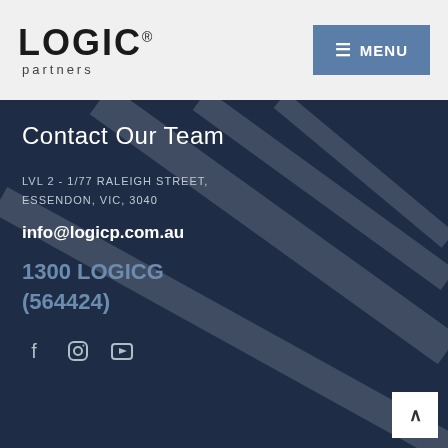[Figure (logo): LOGIC partners logo with registered trademark symbol]
≡ MENU
Contact Our Team
LVL 2 - 1/77 RALEIGH STREET, ESSENDON, VIC, 3040
info@logicp.com.au
1300 LOGICG (564424)
[Figure (illustration): Social media icons: Facebook, Instagram, YouTube/LinkedIn]